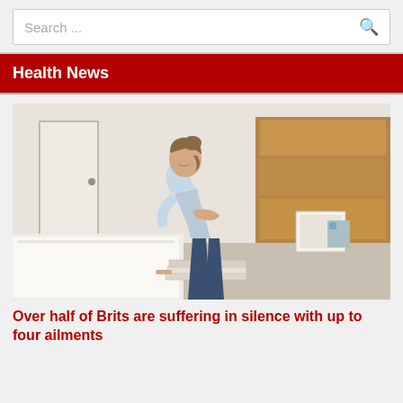Search ...
Health News
[Figure (photo): Woman in a light blue shirt bent over in pain, holding her lower back with one hand and leaning on a stack of magazines with the other, in a bedroom setting with white walls and wooden headboard.]
Over half of Brits are suffering in silence with up to four ailments